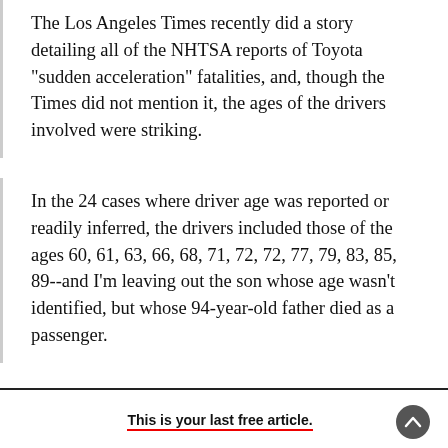The Los Angeles Times recently did a story detailing all of the NHTSA reports of Toyota "sudden acceleration" fatalities, and, though the Times did not mention it, the ages of the drivers involved were striking.
In the 24 cases where driver age was reported or readily inferred, the drivers included those of the ages 60, 61, 63, 66, 68, 71, 72, 72, 77, 79, 83, 85, 89--and I'm leaving out the son whose age wasn't identified, but whose 94-year-old father died as a passenger.
This is your last free article.